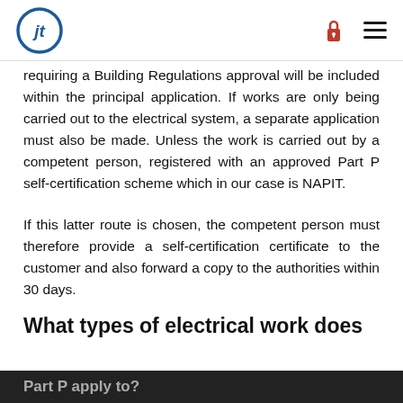jt logo / lock icon / menu icon
requiring a Building Regulations approval will be included within the principal application. If works are only being carried out to the electrical system, a separate application must also be made. Unless the work is carried out by a competent person, registered with an approved Part P self-certification scheme which in our case is NAPIT.
If this latter route is chosen, the competent person must therefore provide a self-certification certificate to the customer and also forward a copy to the authorities within 30 days.
What types of electrical work does